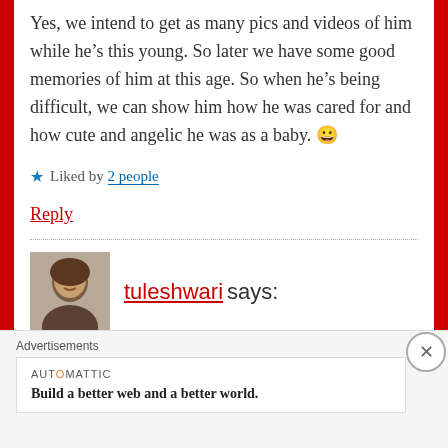Yes, we intend to get as many pics and videos of him while he's this young. So later we have some good memories of him at this age. So when he's being difficult, we can show him how he was cared for and how cute and angelic he was as a baby. 😀
★ Liked by 2 people
Reply
tuleshwari says:
Advertisements
AUTOMATTIC
Build a better web and a better world.